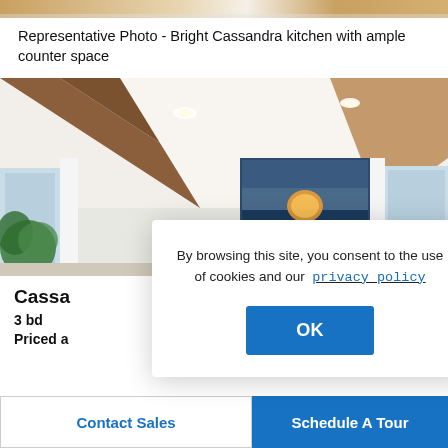[Figure (photo): Partial view of kitchen/room top strip image]
Representative Photo - Bright Cassandra kitchen with ample counter space
[Figure (photo): Interior room photo showing coffered ceiling with wooden beams, windows, white curtains, and a large framed landscape painting on the wall. Green plants visible on the left.]
Cassa
3 bd
Priced a
By browsing this site, you consent to the use of cookies and our  privacy policy
OK
Contact Sales
Schedule A Tour